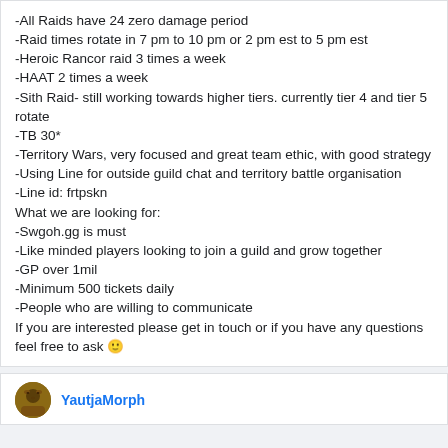-All Raids have 24 zero damage period
-Raid times rotate in 7 pm to 10 pm or 2 pm est to 5 pm est
-Heroic Rancor raid 3 times a week
-HAAT 2 times a week
-Sith Raid- still working towards higher tiers. currently tier 4 and tier 5 rotate
-TB 30*
-Territory Wars, very focused and great team ethic, with good strategy
-Using Line for outside guild chat and territory battle organisation
-Line id: frtpskn
What we are looking for:
-Swgoh.gg is must
-Like minded players looking to join a guild and grow together
-GP over 1mil
-Minimum 500 tickets daily
-People who are willing to communicate
If you are interested please get in touch or if you have any questions feel free to ask 🙂
YautjaMorph